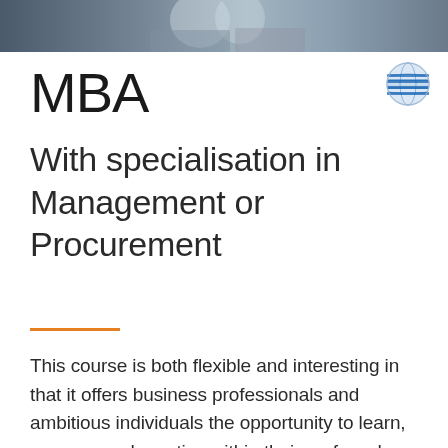[Figure (photo): A blurred photo strip at the top of the page showing people in a professional or educational setting]
MBA
With specialisation in Management or Procurement
This course is both flexible and interesting in that it offers business professionals and ambitious individuals the opportunity to learn, manage and practice within their preferred specialisation via the pathways in